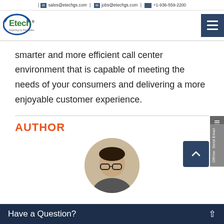| sales@etechgs.com | jobs@etechgs.com | +1-936-559-2200
[Figure (logo): Etech logo - green oval swoosh with 'Etech' text and tagline 'Inspring by Principles']
smarter and more efficient call center environment that is capable of meeting the needs of your consumers and delivering a more enjoyable customer experience.
AUTHOR
[Figure (photo): Circular profile photo of a person wearing glasses]
Have a Question?